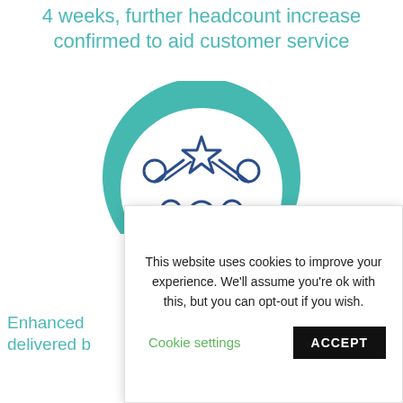4 weeks, further headcount increase confirmed to aid customer service
[Figure (illustration): A teal circular arc background with a dark blue icon of a team of five people, the central figure raising a star trophy above them — representing teamwork and customer service excellence.]
Enhanced... delivered b...
This website uses cookies to improve your experience. We'll assume you're ok with this, but you can opt-out if you wish.
Cookie settings  ACCEPT